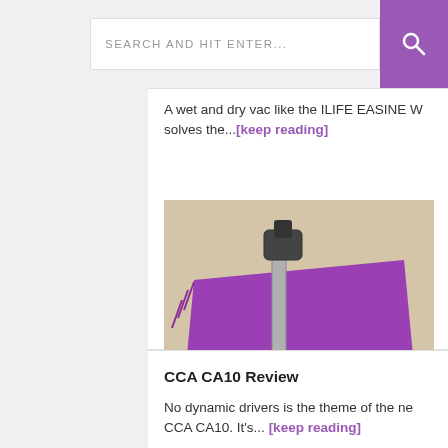SEARCH AND HIT ENTER...
A wet and dry vac like the ILIFE EASINE W solves the...[keep reading]
[Figure (photo): Photo of vacuum cleaner parts laid out on a purple fabric mat on a light-colored floor. Parts include a black floor attachment, a metal wand/pole, a cylindrical canister body, and a small attachment, plus what appears to be a small tool.]
CCA CA10 Review
No dynamic drivers is the theme of the ne CCA CA10. It's... [keep reading]